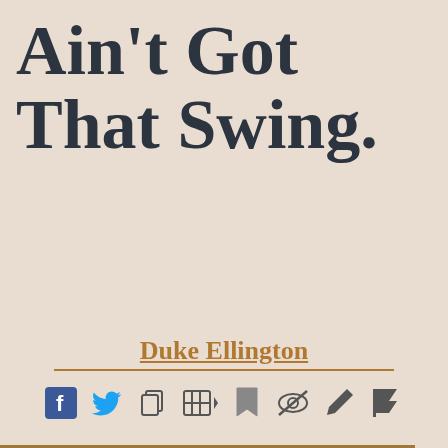Ain't Got That Swing.
Duke Ellington
[Figure (other): Row of social sharing and action icons: Facebook, Twitter, Copy, Video, Bookmark, Hide, Edit/Pen, Flag]
This website uses cookies to ensure you get the best experience on our website. Learn more
Got it!